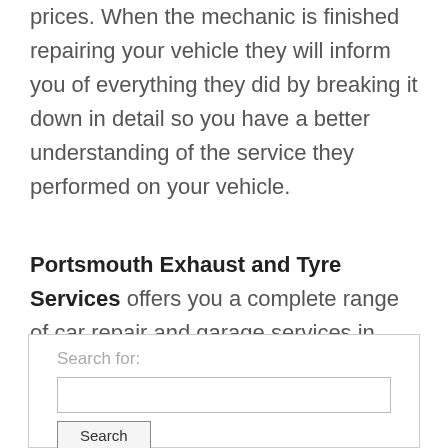prices. When the mechanic is finished repairing your vehicle they will inform you of everything they did by breaking it down in detail so you have a better understanding of the service they performed on your vehicle.
Portsmouth Exhaust and Tyre Services offers you a complete range of car repair and garage services in Petersfield, UK and surrounding areas. Visit them online for more details.
[Figure (screenshot): Search widget with a 'Search for:' label, a text input field, and a Search button.]